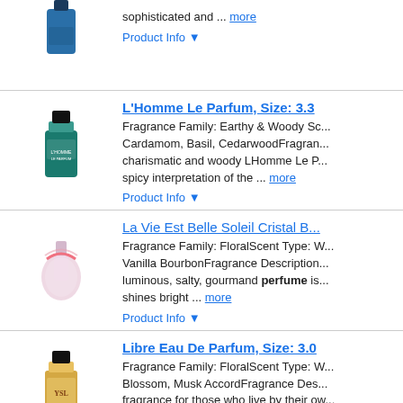[Figure (photo): Perfume bottle - dark blue/teal, partial top of bottle visible]
sophisticated and ... more
Product Info ▼
[Figure (photo): L'Homme Le Parfum bottle - dark teal square bottle with black cap]
L'Homme Le Parfum, Size: 3.3...
Fragrance Family: Earthy & Woody Sc... Cardamom, Basil, CedarwoodFragran... charismatic and woody LHomme Le P... spicy interpretation of the ... more
Product Info ▼
[Figure (photo): La Vie Est Belle Soleil Cristal bottle - pink floral bottle]
La Vie Est Belle Soleil Cristal B...
Fragrance Family: FloralScent Type: W... Vanilla BourbonFragrance Description... luminous, salty, gourmand perfume is... shines bright ... more
Product Info ▼
[Figure (photo): Libre Eau De Parfum bottle - gold/clear bottle with black cap and YSL logo]
Libre Eau De Parfum, Size: 3.0...
Fragrance Family: FloralScent Type: W... Blossom, Musk AccordFragrance Des... fragrance for those who live by their ow... ... more
Product Info ▼
[Figure (photo): 1 Million Parfum bottle - gold ingot shaped bottle]
1 Million Parfum, Size: 3.4 FL O...
Fragrance Family: Warm & SpicyScen... Peppercorn, Salicylated Solar Accord,... Million Parfum dares to push boundar...